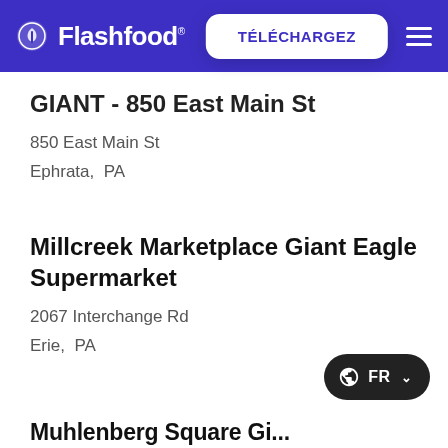Flashfood® TÉLÉCHARGEZ
GIANT - 850 East Main St
850 East Main St
Ephrata,  PA
Millcreek Marketplace Giant Eagle Supermarket
2067 Interchange Rd
Erie,  PA